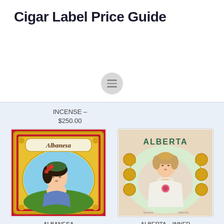Cigar Label Price Guide
[Figure (illustration): Hamburger/menu button icon (three horizontal lines in a grey circle)]
INCENSE – $250.00
[Figure (illustration): Albanesa cigar label showing a portrait of a woman with dark curly hair adorned with red flowers and a green hat, ornate gold and red decorative border]
[Figure (illustration): Alberta cigar label showing a woman in Victorian dress with gold coins decorative border, text ALBERTA at top]
ALBERTA – INNER – WOMAN W PINK ROSES AT CHEST, COINS – $175.00
ALBANESA